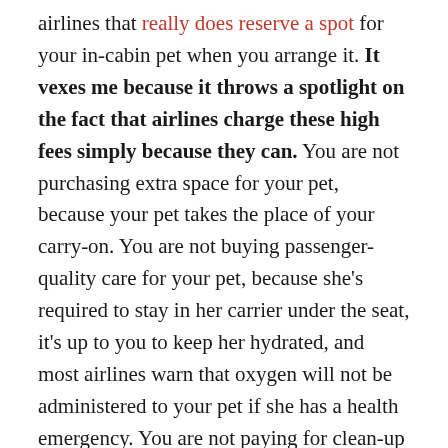airlines that really does reserve a spot for your in-cabin pet when you arrange it. It vexes me because it throws a spotlight on the fact that airlines charge these high fees simply because they can. You are not purchasing extra space for your pet, because your pet takes the place of your carry-on. You are not buying passenger-quality care for your pet, because she's required to stay in her carrier under the seat, it's up to you to keep her hydrated, and most airlines warn that oxygen will not be administered to your pet if she has a health emergency. You are not paying for clean-up after her, since she's required to stay completely enclosed in her moisture-proof carrier — and in fact, there is no special cleaning done around a pet traveler's seat. Perhaps Sun Country would